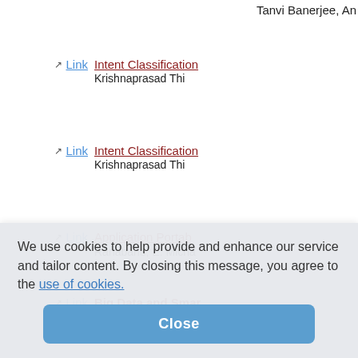Tanvi Banerjee, An
Link | Intent Classification... | Krishnaprasad Thi...
Link | Intent Classification... | Krishnaprasad Thi...
Link | Application Portab... | Ranabahu, E. Micha...
Link | Big Data and Smar...
Link | Citizen Sensor Data...
Link | Internet of Things F...
Link | Semantics-Empowe... | Sheth
Link | Analyzing the Socia... | and Jack Dustin
We use cookies to help provide and enhance our service and tailor content. By closing this message, you agree to the use of cookies.